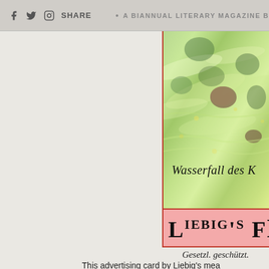f [twitter] [instagram] SHARE  •  A BIANNUAL LITERARY MAGAZINE B
[Figure (illustration): A partial view of a Liebig's advertising card showing a waterfall scene with the text 'Wasserfall des K' visible in italic script, below which is a pink banner reading 'LIEBIG'S FL' in large bold letters, and beneath the card the caption 'Gesetzl. geschützt.']
This advertising card by Liebig's mea the title "Nomadendorf der Hilmen" in had to g